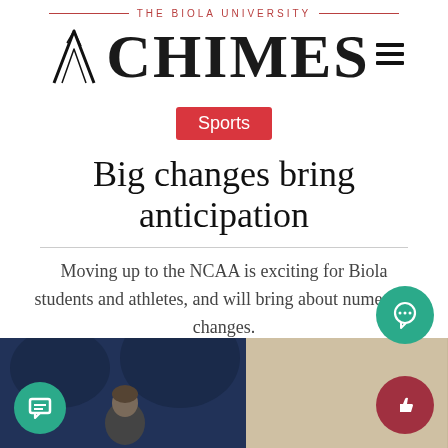THE BIOLA UNIVERSITY CHIMES
Sports
Big changes bring anticipation
Moving up to the NCAA is exciting for Biola students and athletes, and will bring about numerous changes.
[Figure (photo): Photo of a person against a dark blue painted background, partially visible, another person or surface on the right in tan/beige color]